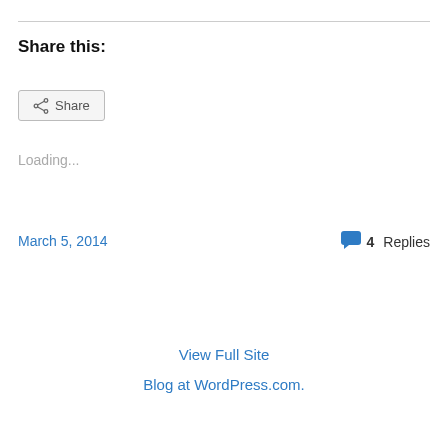Share this:
Share
Loading...
March 5, 2014
4 Replies
View Full Site
Blog at WordPress.com.